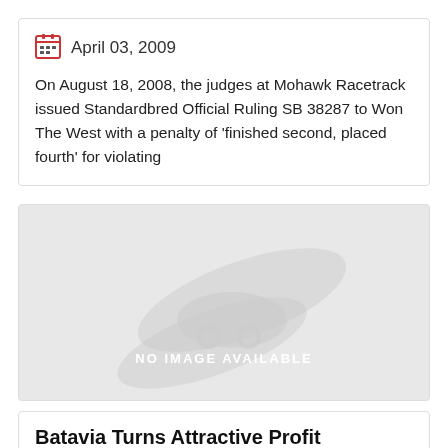April 03, 2009
On August 18, 2008, the judges at Mohawk Racetrack issued Standardbred Official Ruling SB 38287 to Won The West with a penalty of 'finished second, placed fourth' for violating
[Figure (illustration): No image available placeholder with harness racing silhouette watermark on grey background]
Batavia Turns Attractive Profit